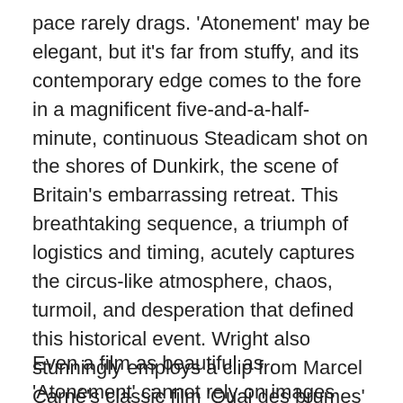pace rarely drags. 'Atonement' may be elegant, but it's far from stuffy, and its contemporary edge comes to the fore in a magnificent five-and-a-half-minute, continuous Steadicam shot on the shores of Dunkirk, the scene of Britain's embarrassing retreat. This breathtaking sequence, a triumph of logistics and timing, acutely captures the circus-like atmosphere, chaos, turmoil, and desperation that defined this historical event. Wright also stunningly employs a clip from Marcel Carné's classic film 'Quai des brumes' ('Port of Shadows') to heartbreaking advantage, then later twists the knife with well-integrated newsreel footage of doomed British soldiers.
Even a film as beautiful as 'Atonement' cannot rely on images alone, and thankfully, the performances